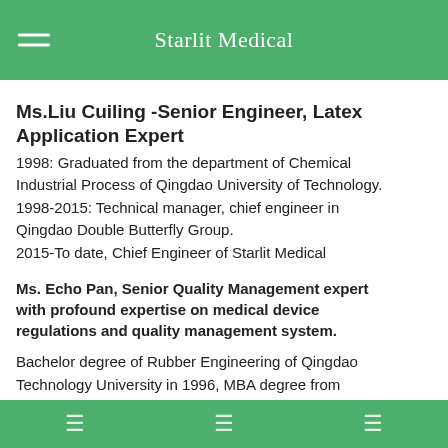Starlit Medical
Ms.Liu Cuiling -Senior Engineer, Latex Application Expert
1998: Graduated from the department of Chemical Industrial Process of Qingdao University of Technology.
1998-2015: Technical manager, chief engineer in Qingdao Double Butterfly Group.
2015-To date, Chief Engineer of Starlit Medical
Ms. Echo Pan, Senior Quality Management expert with profound expertise on medical device regulations and quality management system.
Bachelor degree of Rubber Engineering of Qingdao Technology University in 1996, MBA degree from Southwest Jiaotong University in 2013. Used to work as Quality Assurance Manager, Management Representative, Quality Controller in Qingdao Double Butterfly